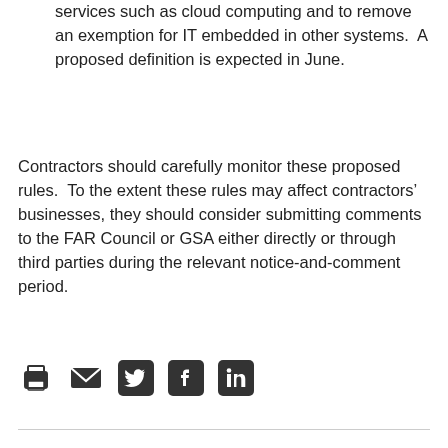services such as cloud computing and to remove an exemption for IT embedded in other systems.  A proposed definition is expected in June.
Contractors should carefully monitor these proposed rules.  To the extent these rules may affect contractors’ businesses, they should consider submitting comments to the FAR Council or GSA either directly or through third parties during the relevant notice-and-comment period.
[Figure (other): Row of social sharing icons: print, email, Twitter, Facebook, LinkedIn]